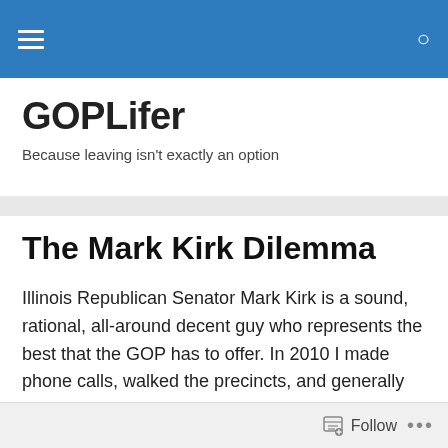GOPLifer
GOPLifer
Because leaving isn't exactly an option
The Mark Kirk Dilemma
Illinois Republican Senator Mark Kirk is a sound, rational, all-around decent guy who represents the best that the GOP has to offer. In 2010 I made phone calls, walked the precincts, and generally laid out to get him elected. It isn't clear yet who will challenge him in 2016, but it doesn't matter. I won't support him.
Follow